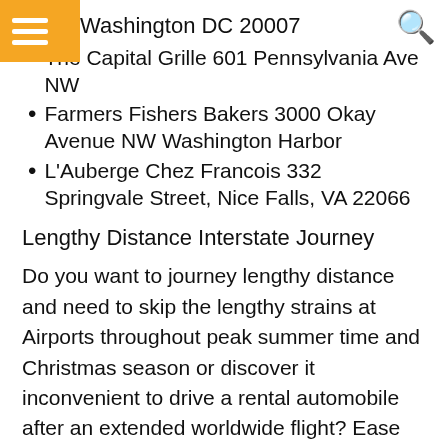Washington DC 20007
The Capital Grille 601 Pennsylvania Ave NW
Farmers Fishers Bakers 3000 Okay Avenue NW Washington Harbor
L'Auberge Chez Francois 332 Springvale Street, Nice Falls, VA 22066
Lengthy Distance Interstate Journey
Do you want to journey lengthy distance and need to skip the lengthy strains at Airports throughout peak summer time and Christmas season or discover it inconvenient to drive a rental automobile after an extended worldwide flight? Ease the countless frustration that comes with delayed cancelled flights throughout the busy vacation season. Our new and cozy autos pushed by protected chauffeurs will likely be glad to handle your lengthy distance Interstate or metropolis to metropolis journey.